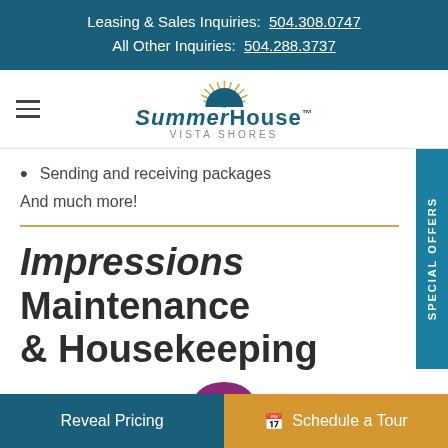Leasing & Sales Inquiries: 504.308.0747
All Other Inquiries: 504.288.3737
[Figure (logo): SummerHouse Vista Shores logo with sunburst icon above the text]
Sending and receiving packages
And much more!
Impressions Maintenance & Housekeeping
Reveal Pricing | Schedule a Tour